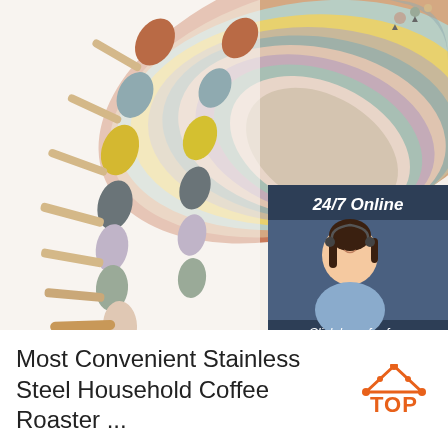[Figure (photo): Product photo showing multiple colorful silicone and wooden spoons/utensils fanned out in various pastel and earth tones, alongside a customer service chat overlay with a female agent wearing a headset, text '24/7 Online', 'Click here for free chat!', and an orange QUOTATION button on a dark navy background.]
Most Convenient Stainless Steel Household Coffee Roaster ...
[Figure (logo): TOP logo with orange triangle/house icon above the text TOP in orange bold letters]